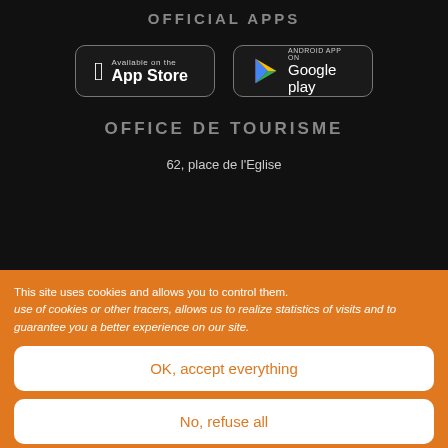OFFICIAL APPS
[Figure (screenshot): App Store and Google Play store buttons on dark background]
OFFICE DE TOURISME
62, place de l'Eglise
This site uses cookies and allows you to control them. use of cookies or other tracers, allows us to realize statistics of visits and to guarantee you a better experience on our site.
OK, accept everything
No, refuse all
Personalize